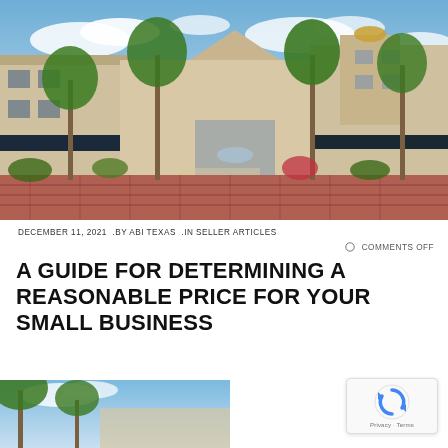[Figure (photo): Exterior photo of a commercial shopping center with palm trees, red-brick paved plaza, tan stucco buildings with dark awnings, blue sky with clouds]
DECEMBER 11, 2021  .BY ABI TEXAS  .IN SELLER ARTICLES
COMMENTS OFF
A GUIDE FOR DETERMINING A REASONABLE PRICE FOR YOUR SMALL BUSINESS
[Figure (photo): Partial view of a second photo showing palm trees and building exterior, cropped at bottom of page]
[Figure (logo): Google reCAPTCHA badge with circular arrow logo and Privacy · Terms text]